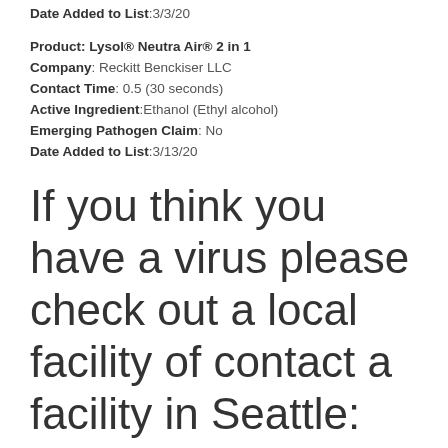Date Added to List:3/3/20
Product: Lysol® Neutra Air® 2 in 1
Company: Reckitt Benckiser LLC
Contact Time: 0.5 (30 seconds)
Active Ingredient:Ethanol (Ethyl alcohol)
Emerging Pathogen Claim: No
Date Added to List:3/13/20
If you think you have a virus please check out a local facility of contact a facility in Seattle: